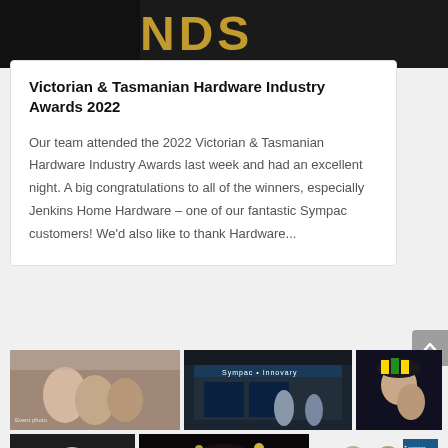[Figure (photo): Dark banner photo at top of page showing partial signage text]
Victorian & Tasmanian Hardware Industry Awards 2022
Our team attended the 2022 Victorian & Tasmanian Hardware Industry Awards last week and had an excellent night. A big congratulations to all of the winners, especially Jenkins Home Hardware – one of our fantastic Sympac customers! We'd also like to thank Hardware...
[Figure (photo): Grid of six event photos showing people at hardware industry trade show and awards event, including group selfies and Sympac trade booth]
[Figure (photo): Woman smiling at event, dark background]
[Figure (photo): Outdoor night scene with lights]
[Figure (photo): Two men at Sympac branded booth]